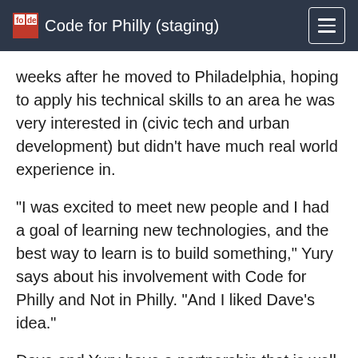Code for Philly (staging)
weeks after he moved to Philadelphia, hoping to apply his technical skills to an area he was very interested in (civic tech and urban development) but didn't have much real world experience in.
“I was excited to meet new people and I had a goal of learning new technologies, and the best way to learn is to build something,” Yury says about his involvement with Code for Philly and Not in Philly. “And I liked Dave’s idea.”
Dave and Yury have a partnership that is well known and well spoken of in civic tech circles. Corey Acri from CyclePhilly was quick to point to